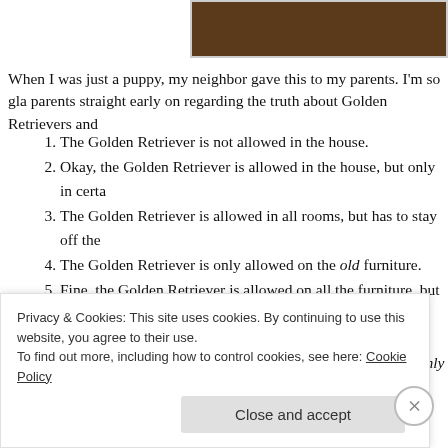[Figure (photo): Partial photo of a framed picture, brown wooden frame visible at top right]
When I was just a puppy, my neighbor gave this to my parents. I'm so gla parents straight early on regarding the truth about Golden Retrievers and
1. The Golden Retriever is not allowed in the house.
2. Okay, the Golden Retriever is allowed in the house, but only in certa
3. The Golden Retriever is allowed in all rooms, but has to stay off the
4. The Golden Retriever is only allowed on the old furniture.
5. Fine, the Golden Retriever is allowed on all the furniture, but is not allowed on the bed. humans on the bed.
6. All right, the Golden Retriever is allowed on the bed, but only by invi
7. The Golden Retriever may sleep on the bed whenever he wants, bu
8. The Golden Retriever may sleep under the covers every night.
9. Humans must ask permission to sleep under the covers with th
Privacy & Cookies: This site uses cookies. By continuing to use this website, you agree to their use.
To find out more, including how to control cookies, see here: Cookie Policy
Close and accept